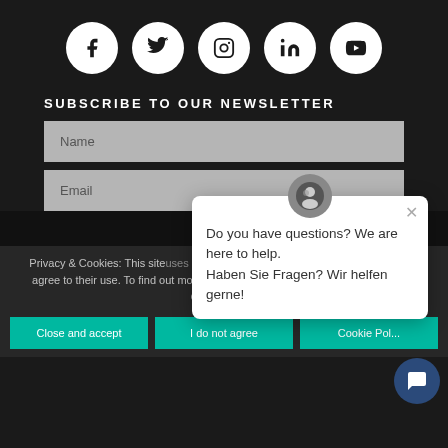[Figure (illustration): Row of five white circular social media icon buttons: Facebook, Twitter, Instagram, LinkedIn, YouTube]
SUBSCRIBE TO OUR NEWSLETTER
Name
Email
S
[Figure (illustration): Chat popup overlay with watch icon avatar, close X button, text: Do you have questions? We are here to help. Haben Sie Fragen? Wir helfen gerne!]
Privacy & Cookies: This site uses cookies. By continuing to use this website, you agree to their use. To find out more, including how to control cookies, see here: Cookie Policy
Close and accept | I do not agree | Cookie Policy